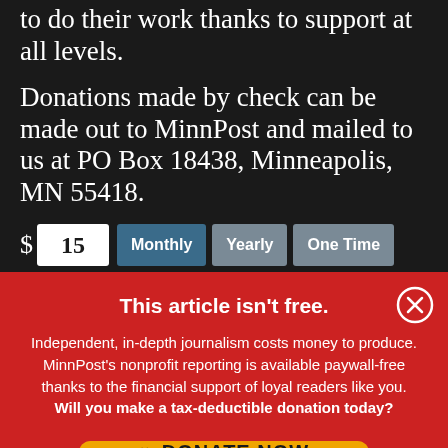to do their work thanks to support at all levels.
Donations made by check can be made out to MinnPost and mailed to us at PO Box 18438, Minneapolis, MN 55418.
$ 15  Monthly  Yearly  One Time
This article isn't free.
Independent, in-depth journalism costs money to produce. MinnPost's nonprofit reporting is available paywall-free thanks to the financial support of loyal readers like you. Will you make a tax-deductible donation today?
DONATE NOW